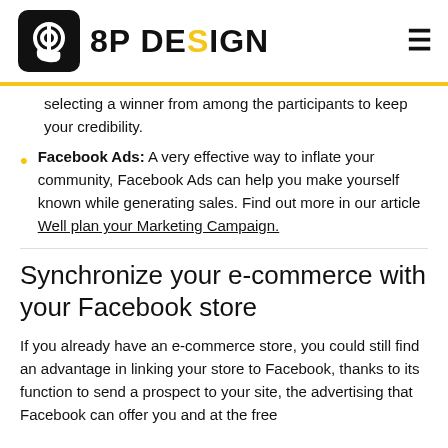8P DESIGN
selecting a winner from among the participants to keep your credibility.
Facebook Ads: A very effective way to inflate your community, Facebook Ads can help you make yourself known while generating sales. Find out more in our article Well plan your Marketing Campaign.
Synchronize your e-commerce with your Facebook store
If you already have an e-commerce store, you could still find an advantage in linking your store to Facebook, thanks to its function to send a prospect to your site, the advertising that Facebook can offer you and at the free